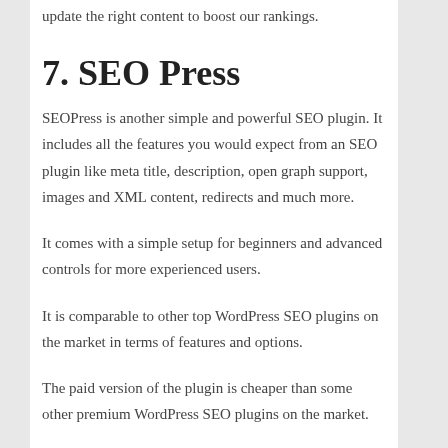update the right content to boost our rankings.
7. SEO Press
SEOPress is another simple and powerful SEO plugin. It includes all the features you would expect from an SEO plugin like meta title, description, open graph support, images and XML content, redirects and much more.
It comes with a simple setup for beginners and advanced controls for more experienced users.
It is comparable to other top WordPress SEO plugins on the market in terms of features and options.
The paid version of the plugin is cheaper than some other premium WordPress SEO plugins on the market.